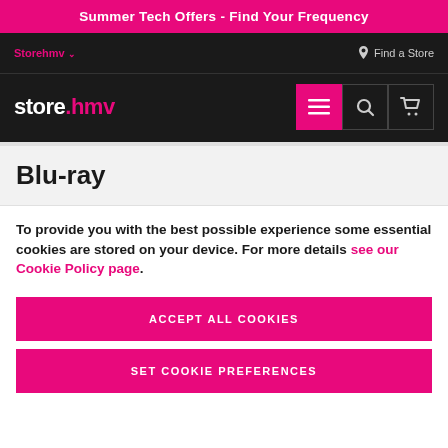Summer Tech Offers - Find Your Frequency
Storehmv  Find a Store
store.hmv
Blu-ray
To provide you with the best possible experience some essential cookies are stored on your device. For more details see our Cookie Policy page.
ACCEPT ALL COOKIES
SET COOKIE PREFERENCES